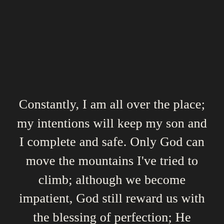Constantly, I am all over the place; my intentions will keep my son and I complete and safe. Only God can move the mountains I've tried to climb; although we become impatient, God still reward us with the blessing of perfection; He empathized while taking his Holy time. Can anybody besides myself see his mercy and grace? There're moments where I feel the Holy Spirit all over the place…just like